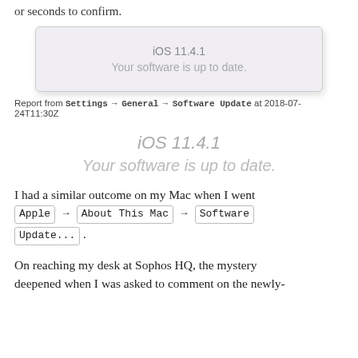or seconds to confirm.
[Figure (screenshot): iOS 11.4.1 Software Update screen showing 'Your software is up to date.']
Report from Settings → General → Software Update at 2018-07-24T11:30Z
iOS 11.4.1
Your software is up to date.
I had a similar outcome on my Mac when I went Apple → About This Mac → Software Update... .
On reaching my desk at Sophos HQ, the mystery deepened when I was asked to comment on the newly-